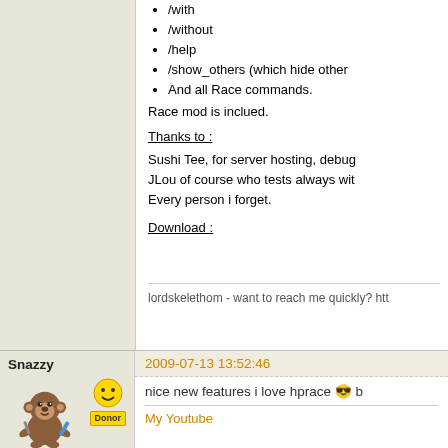/with
/without
/help
/show_others (which hide other
And all Race commands.
Race mod is inclued.
Thanks to :
Sushi Tee, for server hosting, debug
JLou of course who tests always wit
Every person i forget.
Download :
lordskelethom - want to reach me quickly? htt
Snazzy
Donor
2009-07-13 13:52:46
nice new features i love hprace b
My Youtube